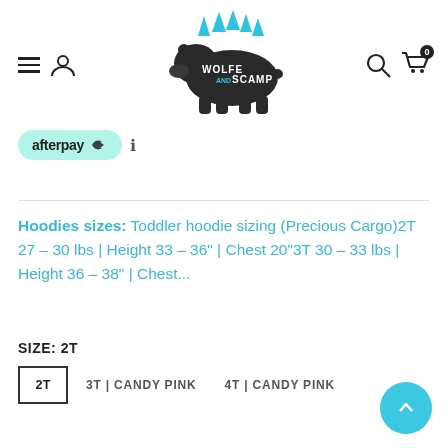[Figure (logo): Wolfe and Scamp brand logo — dark bear silhouette with cyan spikes, text 'WOLFE and SCAMP' on bear body]
afterpay  ℹ
Hoodies sizes:   Toddler hoodie sizing (Precious Cargo)2T 27 – 30 lbs | Height 33 – 36" | Chest 20"3T 30 – 33 lbs | Height 36 – 38" | Chest...
SIZE: 2T
2T   3T | CANDY PINK   4T | CANDY PINK